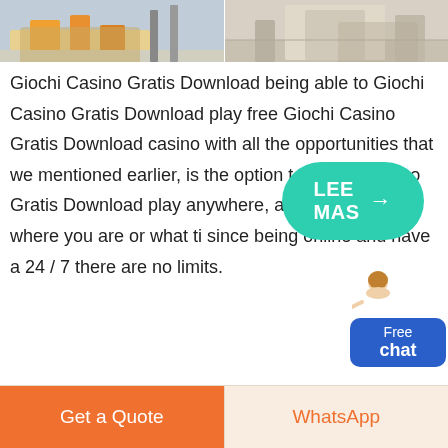[Figure (photo): Two industrial/construction site photos side by side at the top of the page]
Giochi Casino Gratis Download being able to Giochi Casino Gratis Download play free Giochi Casino Gratis Download casino with all the opportunities that we mentioned earlier, is the option to Giochi Casino Gratis Download play anywhere, anytime, no matter where you are or what ti since being online and have a 24 / 7 there are no limits.
[Figure (illustration): Chat widget with a customer service person figure and a blue button labeled 'Free chat']
[Figure (other): Teal/green rounded button labeled 'LEE MAS' with right arrow]
Get a Quote | WhatsApp